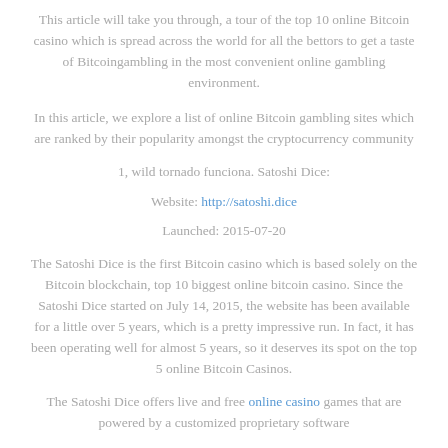This article will take you through, a tour of the top 10 online Bitcoin casino which is spread across the world for all the bettors to get a taste of Bitcoingambling in the most convenient online gambling environment.
In this article, we explore a list of online Bitcoin gambling sites which are ranked by their popularity amongst the cryptocurrency community
1, wild tornado funciona. Satoshi Dice:
Website: http://satoshi.dice
Launched: 2015-07-20
The Satoshi Dice is the first Bitcoin casino which is based solely on the Bitcoin blockchain, top 10 biggest online bitcoin casino. Since the Satoshi Dice started on July 14, 2015, the website has been available for a little over 5 years, which is a pretty impressive run. In fact, it has been operating well for almost 5 years, so it deserves its spot on the top 5 online Bitcoin Casinos.
The Satoshi Dice offers live and free online casino games that are powered by a customized proprietary software